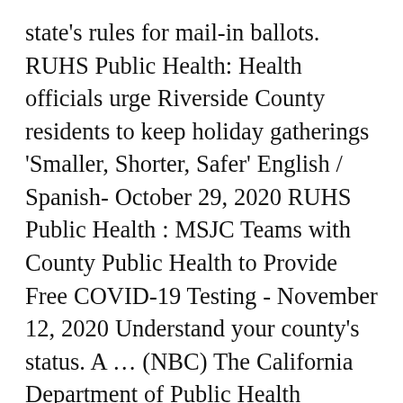state's rules for mail-in ballots. RUHS Public Health: Health officials urge Riverside County residents to keep holiday gatherings 'Smaller, Shorter, Safer' English / Spanish- October 29, 2020 RUHS Public Health : MSJC Teams with County Public Health to Provide Free COVID-19 Testing - November 12, 2020 Understand your county's status. A ... (NBC) The California Department of Public Health Tuesday returned Riverside County to the most restrictive purple tier under the governor's color-coded coronavirus regulatory scheme, meaning some businesses that have opened are supposed to close again — a move one supervisor said equals “putting the nail in the coffin” of some